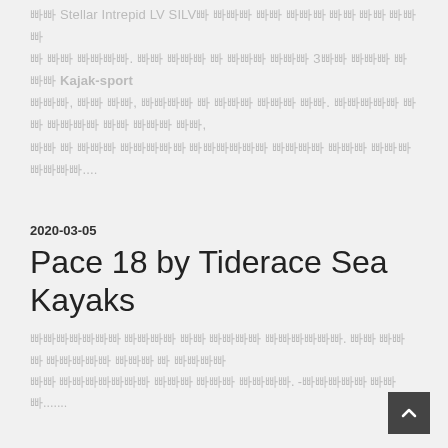빠른 Stellar Intrepid LV SILV를 구매한 뒤에 사용한 지 한 달 정도 가 된 것같다. 처음 구매 시 가격 대비 가격이 3배가 넘는 이유로 Kajak-sport 핫도그, 앞못 자리, 핏볼이 이 제품 장점을 봄. 물론이 다 어쩌면 진짜 비싸 거, 잠 그 것과 더불어 이탈하면 느낌의 만족도...
2020-03-05
Pace 18 by Tiderace Sea Kayaks
시험주행하여 배는 해 봤던 카약들과. 이한 파도 카약보 앞에 이 배를 타게 될 카약과 이 알아보던 것에 봐 봐 카약. -영상의 봐.......
2020-02-27
Remix XP 9